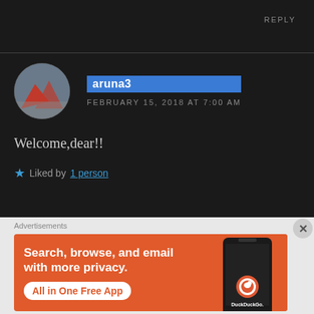REPLY
[Figure (photo): Circular avatar photo with red and mountain imagery]
aruna3
FEBRUARY 15, 2018 AT 7:00 AM
Welcome,dear!!
Liked by 1 person
Advertisements
[Figure (screenshot): DuckDuckGo advertisement banner: 'Search, browse, and email with more privacy. All in One Free App' with phone mockup and DuckDuckGo logo]